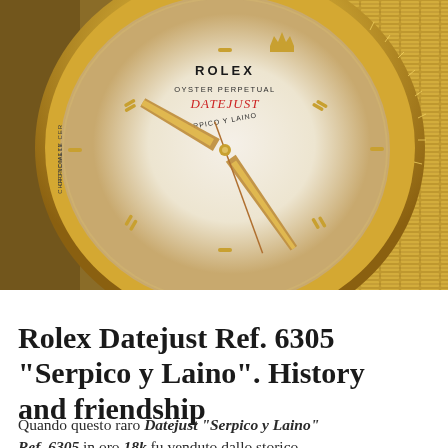[Figure (photo): Close-up photo of a Rolex Datejust watch dial showing 'ROLEX OYSTER PERPETUAL DATEJUST SERPICO Y LAINO' text on the white dial. Gold hour markers, gold hands, and gold bezel visible. The dial also shows 'OFFICIALLY CERTIFIED CHRONOMETER' text on the left side.]
Rolex Datejust Ref. 6305 “Serpico y Laino”. History and friendship
Quando questo raro Datejust “Serpico y Laino” Ref. 6305 in oro 18k fu venduto dallo storico